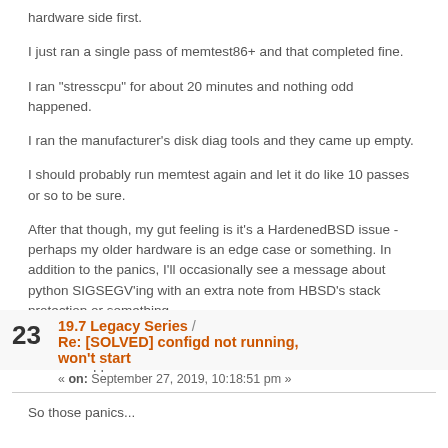hardware side first.
I just ran a single pass of memtest86+ and that completed fine.
I ran "stresscpu" for about 20 minutes and nothing odd happened.
I ran the manufacturer's disk diag tools and they came up empty.
I should probably run memtest again and let it do like 10 passes or so to be sure.
After that though, my gut feeling is it's a HardenedBSD issue - perhaps my older hardware is an edge case or something. In addition to the panics, I'll occasionally see a message about python SIGSEGV'ing with an extra note from HBSD's stack protection or something.
Anyhow, some pointers before I waste time on the issue tracker would be appreciated.
23   19.7 Legacy Series / Re: [SOLVED] configd not running, won't start
« on: September 27, 2019, 10:18:51 pm »
So those panics...